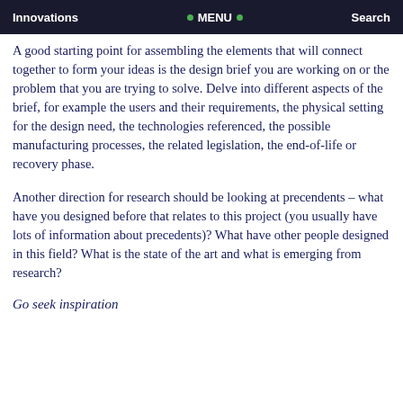Innovations   • MENU •   Search
A good starting point for assembling the elements that will connect together to form your ideas is the design brief you are working on or the problem that you are trying to solve. Delve into different aspects of the brief, for example the users and their requirements, the physical setting for the design need, the technologies referenced, the possible manufacturing processes, the related legislation, the end-of-life or recovery phase.
Another direction for research should be looking at precendents – what have you designed before that relates to this project (you usually have lots of information about precedents)? What have other people designed in this field? What is the state of the art and what is emerging from research?
Go seek inspiration